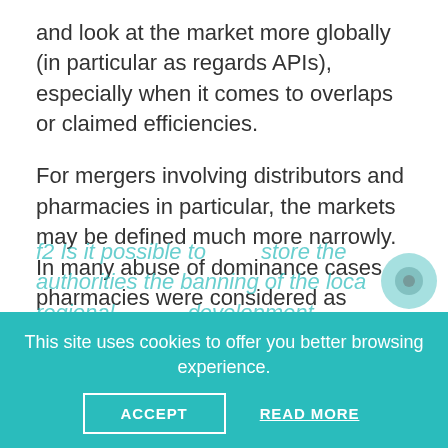and look at the market more globally (in particular as regards APIs), especially when it comes to overlaps or claimed efficiencies.
For mergers involving distributors and pharmacies in particular, the markets may be defined much more narrowly. In many abuse of dominance cases pharmacies were considered as having a dominant position on selected streets or other small areas. Needless to say, such an approach is heavily criticised.
f2 Is it possible to restore the authorities the banning of the local regional development
This site uses cookies to offer you better browsing experience.
ACCEPT    READ MORE